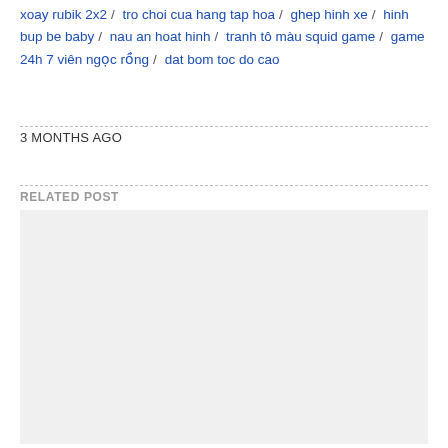xoay rubik 2x2 / tro choi cua hang tap hoa / ghep hinh xe / hinh bup be baby / nau an hoat hinh / tranh tô màu squid game / game 24h 7 viên ngọc rồng / dat bom toc do cao
3 MONTHS AGO
RELATED POST
[Figure (other): Light gray placeholder box for a related post image]